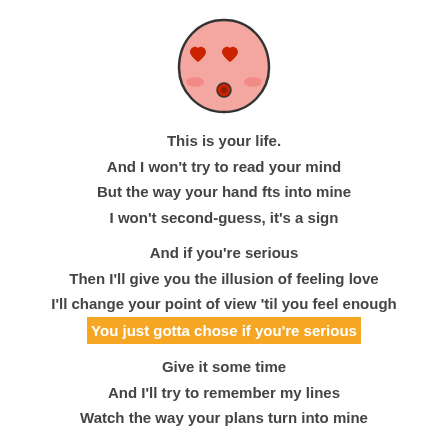[Figure (illustration): Cute kawaii peach/blob emoji character with heart-shaped eyes and a small mouth, pink/blush cheeks, outlined in dark, on white background]
This is your life.
And I won't try to read your mind
But the way your hand fts into mine
I won't second-guess, it's a sign
And if you're serious
Then I'll give you the illusion of feeling love
I'll change your point of view 'til you feel enough
You just gotta chose if you're serious
Give it some time
And I'll try to remember my lines
Watch the way your plans turn into mine